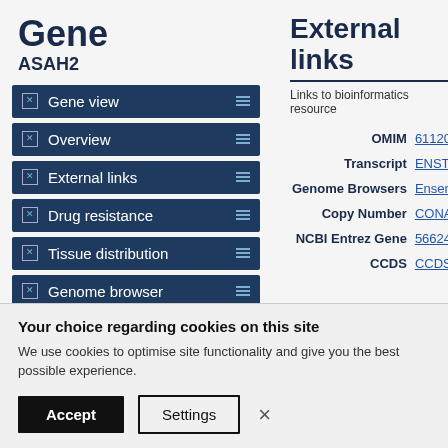Gene
ASAH2
Gene view
Overview
External links
Drug resistance
Tissue distribution
Genome browser
Mutation distribution
External links
Links to bioinformatics resource
| Label | Link |
| --- | --- |
| OMIM | 61120… |
| Transcript | ENST0… |
| Genome Browsers | Ensem… |
| Copy Number | CONA… |
| NCBI Entrez Gene | 56624 |
| CCDS | CCDS… |
Your choice regarding cookies on this site
We use cookies to optimise site functionality and give you the best possible experience.